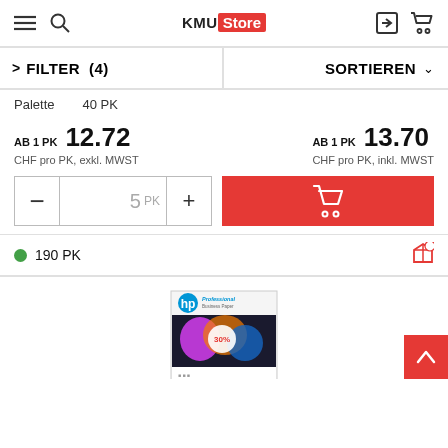KMU Store — navigation header with menu, search, login, cart icons
FILTER (4)   SORTIEREN
Palette   40 PK
AB 1 PK  12.72
CHF pro PK, exkl. MWST
AB 1 PK  13.70
CHF pro PK, inkl. MWST
5 PK
190 PK
[Figure (screenshot): HP Professional Business Paper product image showing a pack with colorful print samples]
[Figure (other): Red back-to-top button with upward chevron arrow]